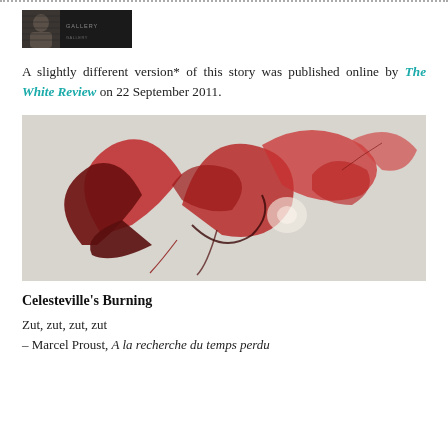[Figure (logo): Blog/site header logo with portrait photo and text, dark background]
A slightly different version* of this story was published online by The White Review on 22 September 2011.
[Figure (photo): Abstract red and dark red flower/leaf shapes on a pale grey background]
Celesteville's Burning
Zut, zut, zut, zut
– Marcel Proust, A la recherche du temps perdu